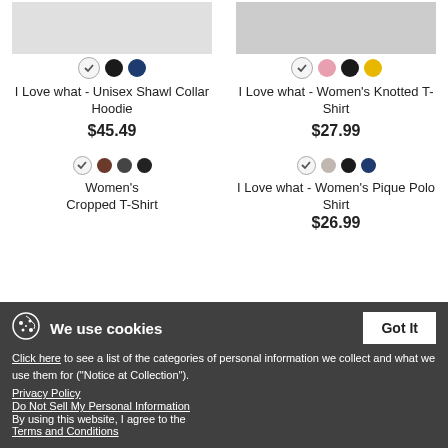[Figure (photo): I Love what - Unisex Shawl Collar Hoodie product image, color swatches below]
I Love what - Unisex Shawl Collar Hoodie
$45.49
[Figure (photo): I Love what - Women's Knotted T-Shirt product image, color swatches below]
I Love what - Women's Knotted T-Shirt
$27.99
[Figure (photo): Women's Cropped T-Shirt with I heart graphic design]
[Figure (photo): I Love what - Women's Pique Polo Shirt with I heart graphic, New badge]
Women's Cropped T-Shirt
I Love what - Women's Pique Polo Shirt
$26.99
We use cookies
Click here to see a list of the categories of personal information we collect and what we use them for ("Notice at Collection").
Privacy Policy
Do Not Sell My Personal Information
By using this website, I agree to the Terms and Conditions
Got It